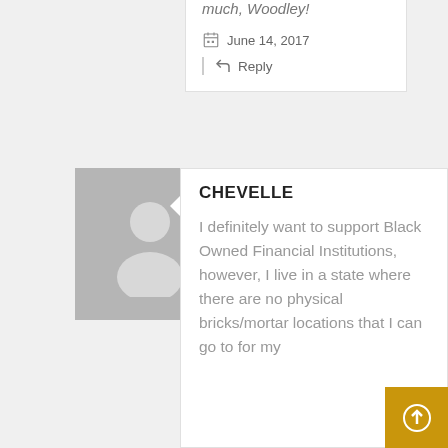much, Woodley!
June 14, 2017
Reply
[Figure (illustration): Default user avatar — grey silhouette of a person on grey background]
CHEVELLE
I definitely want to support Black Owned Financial Institutions, however, I live in a state where there are no physical bricks/mortar locations that I can go to for my